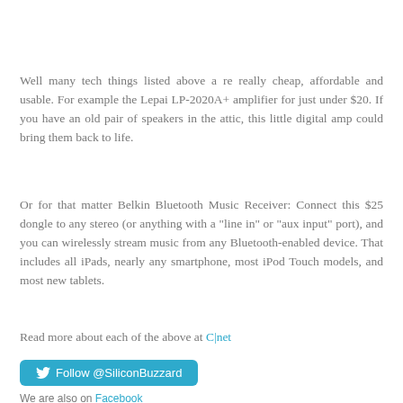Well many tech things listed above a re really cheap, affordable and usable. For example the Lepai LP-2020A+ amplifier for just under $20. If you have an old pair of speakers in the attic, this little digital amp could bring them back to life.
Or for that matter Belkin Bluetooth Music Receiver: Connect this $25 dongle to any stereo (or anything with a "line in" or "aux input" port), and you can wirelessly stream music from any Bluetooth-enabled device. That includes all iPads, nearly any smartphone, most iPod Touch models, and most new tablets.
Read more about each of the above at C|net
Follow @SiliconBuzzard
We are also on Facebook